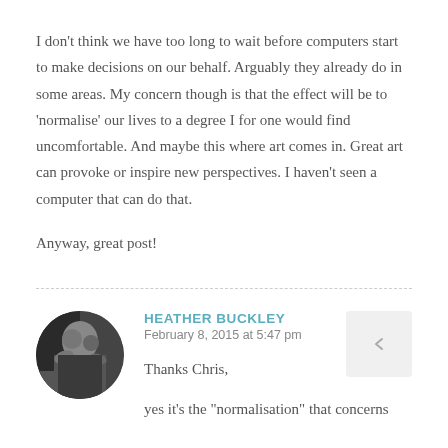I don’t think we have too long to wait before computers start to make decisions on our behalf. Arguably they already do in some areas. My concern though is that the effect will be to ‘normalise’ our lives to a degree I for one would find uncomfortable. And maybe this where art comes in. Great art can provoke or inspire new perspectives. I haven’t seen a computer that can do that.
Anyway, great post!
HEATHER BUCKLEY
February 8, 2015 at 5:47 pm
Thanks Chris,
yes it’s the “normalisation” that concerns